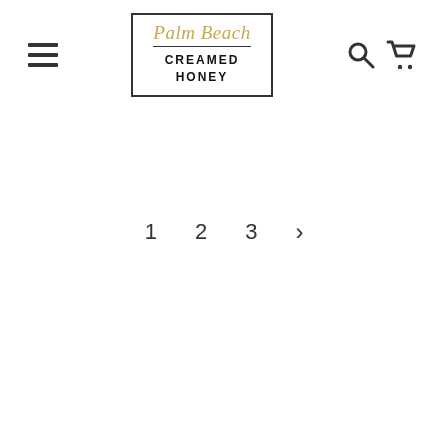[Figure (logo): Palm Beach Creamed Honey logo inside a rectangular border, with 'Palm Beach' in gold italic script above a horizontal rule and 'CREAMED HONEY' in bold black sans-serif capitals below]
[Figure (other): Hamburger menu icon (three horizontal lines) on the left, search icon (magnifying glass) and shopping cart icon on the right — website navigation controls]
1  2  3  >